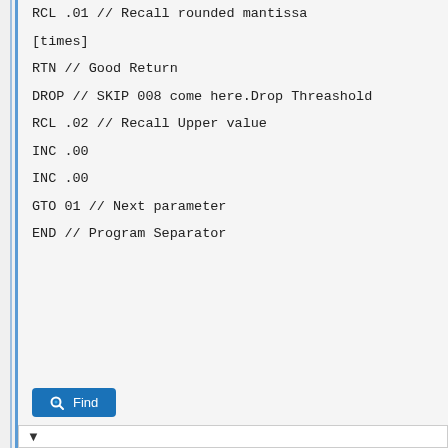RCL .01 // Recall rounded mantissa
[times]
RTN // Good Return
DROP // SKIP 008 come here.Drop Threashold
RCL .02 // Recall Upper value
INC .00
INC .00
GTO 01 // Next parameter
END // Program Separator